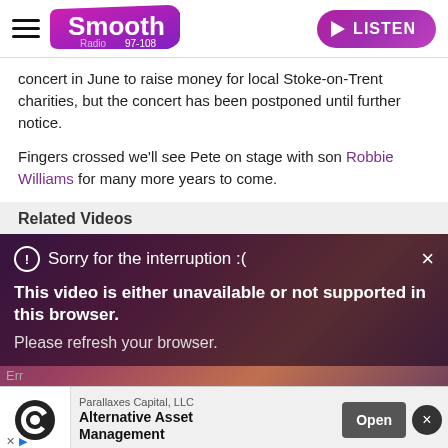Smooth Radio 97-108 | LISTEN
concert in June to raise money for local Stoke-on-Trent charities, but the concert has been postponed until further notice.
Fingers crossed we'll see Pete on stage with son Robbie Williams for many more years to come.
Related Videos
[Figure (screenshot): Video player overlay showing 'Sorry for the interruption :(' message with 'This video is either unavailable or not supported in this browser. Please refresh your browser.' and an advertisement banner for Parallaxes Capital LLC Alternative Asset Management with Open button.]